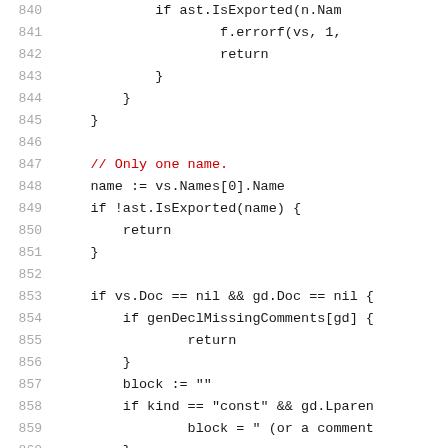840: if ast.IsExported(n.Nam
841: f.errorf(vs, 1,
842: return
843: }
844: }
845: }
846: (blank)
847: // Only one name.
848: name := vs.Names[0].Name
849: if !ast.IsExported(name) {
850: return
851: }
852: (blank)
853: if vs.Doc == nil && gd.Doc == nil {
854: if genDeclMissingComments[gd] {
855: return
856: }
857: block := ""
858: if kind == "const" && gd.Lparen
859: block = " (or a comment
860: }
861: ...